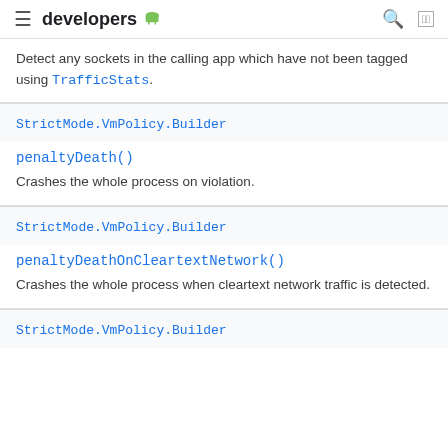developers
Detect any sockets in the calling app which have not been tagged using TrafficStats.
StrictMode.VmPolicy.Builder
penaltyDeath()
Crashes the whole process on violation.
StrictMode.VmPolicy.Builder
penaltyDeathOnCleartextNetwork()
Crashes the whole process when cleartext network traffic is detected.
StrictMode.VmPolicy.Builder